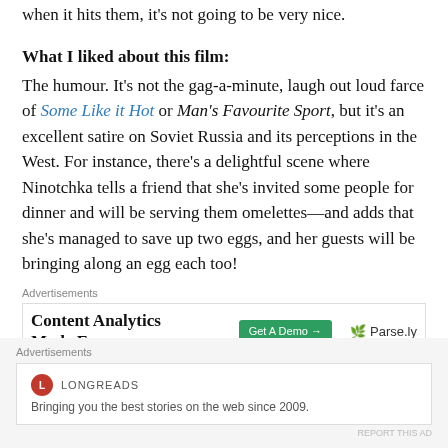when it hits them, it's not going to be very nice.
What I liked about this film:
The humour. It's not the gag-a-minute, laugh out loud farce of Some Like it Hot or Man's Favourite Sport, but it's an excellent satire on Soviet Russia and its perceptions in the West. For instance, there's a delightful scene where Ninotchka tells a friend that she's invited some people for dinner and will be serving them omelettes—and adds that she's managed to save up two eggs, and her guests will be bringing along an egg each too!
Advertisements
[Figure (infographic): Advertisement for Parse.ly: Content Analytics Made Easy. Green 'Get A Demo →' button and Parse.ly logo.]
Advertisements
[Figure (infographic): Advertisement for Longreads: Bringing you the best stories on the web since 2009.]